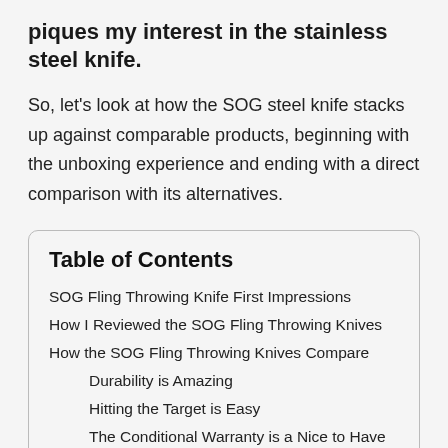piques my interest in the stainless steel knife.
So, let’s look at how the SOG steel knife stacks up against comparable products, beginning with the unboxing experience and ending with a direct comparison with its alternatives.
Table of Contents
SOG Fling Throwing Knife First Impressions
How I Reviewed the SOG Fling Throwing Knives
How the SOG Fling Throwing Knives Compare
Durability is Amazing
Hitting the Target is Easy
The Conditional Warranty is a Nice to Have
The Edge Needs to be Sharpened Repeatedly